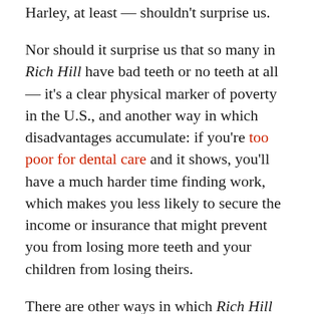Harley, at least — shouldn't surprise us.
Nor should it surprise us that so many in Rich Hill have bad teeth or no teeth at all — it's a clear physical marker of poverty in the U.S., and another way in which disadvantages accumulate: if you're too poor for dental care and it shows, you'll have a much harder time finding work, which makes you less likely to secure the income or insurance that might prevent you from losing more teeth and your children from losing theirs.
There are other ways in which Rich Hill offers useful insight. Like the struggling families depicted here, most poor people in the U.S. are or have been married — contrary to the simplistic rhetoric of many, marriage is not a magical ceremony with anti-poverty powers. There